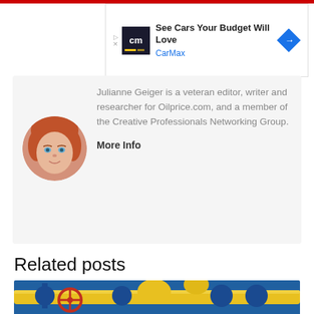[Figure (other): CarMax advertisement banner: 'See Cars Your Budget Will Love' with CarMax logo]
[Figure (photo): Circular portrait photo of Julianne Geiger, a woman with red hair and blue eyes]
Julianne Geiger is a veteran editor, writer and researcher for Oilprice.com, and a member of the Creative Professionals Networking Group.
More Info
Related posts
[Figure (photo): Photo of industrial gas pipeline infrastructure with yellow pipes and blue valve fittings]